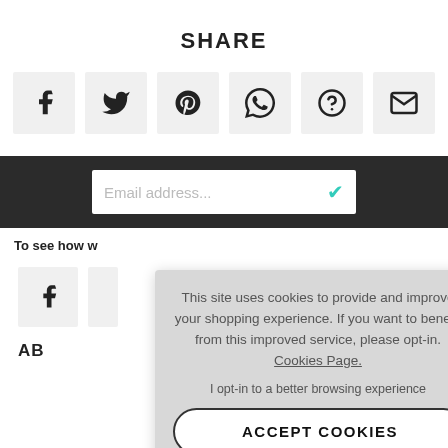SHARE
[Figure (screenshot): Six social share icon buttons in grey boxes: Facebook, Twitter, Pinterest, WhatsApp, unknown (question mark), Email]
[Figure (screenshot): Dark bar with email address input field containing placeholder text 'Email address...' and a teal checkmark icon]
To see how w
[Figure (screenshot): Grey box with Facebook icon (partial second box visible)]
AB
[Figure (screenshot): Cookie consent popup overlay with text: This site uses cookies to provide and improve your shopping experience. If you want to benefit from this improved service, please opt-in. Cookies Page. I opt-in to a better browsing experience. ACCEPT COOKIES button. Privacy Policy link.]